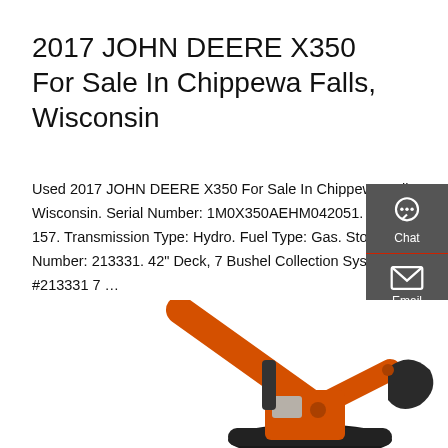2017 JOHN DEERE X350 For Sale In Chippewa Falls, Wisconsin
Used 2017 JOHN DEERE X350 For Sale In Chippewa Falls, Wisconsin. Serial Number: 1M0X350AEHM042051. Hours: 157. Transmission Type: Hydro. Fuel Type: Gas. Stock Number: 213331. 42" Deck, 7 Bushel Collection System, #213331 7 ...
Get a quote
[Figure (screenshot): Right-side contact sidebar with Chat, Email, and Contact icons on dark gray background]
[Figure (photo): Orange excavator/construction equipment shown from mid-section with arm and bucket visible]